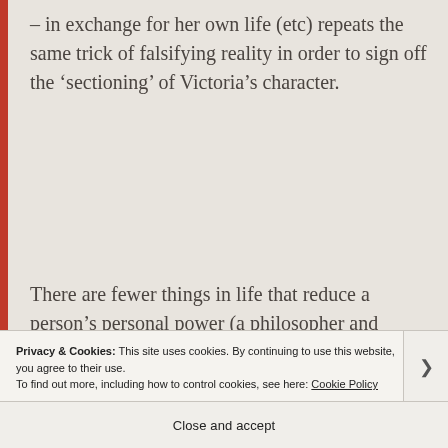– in exchange for her own life (etc) repeats the same trick of falsifying reality in order to sign off the ‘sectioning’ of Victoria’s character.
There are fewer things in life that reduce a person’s personal power (a philosopher and psychiatrist might use a word like ‘agency’) than the loss of mental faculties. But is a person only
Privacy & Cookies: This site uses cookies. By continuing to use this website, you agree to their use.
To find out more, including how to control cookies, see here: Cookie Policy
Close and accept